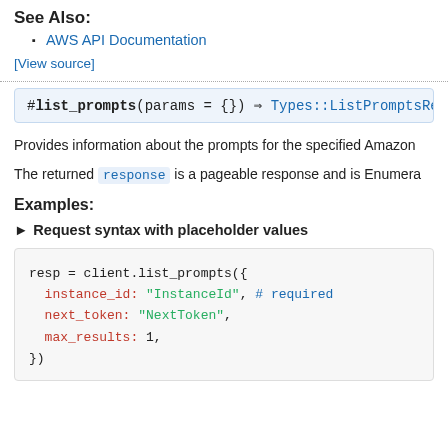See Also:
AWS API Documentation
[View source]
#list_prompts(params = {}) ⇒ Types::ListPromptsRe
Provides information about the prompts for the specified Amazon
The returned response is a pageable response and is Enumera
Examples:
► Request syntax with placeholder values
resp = client.list_prompts({
  instance_id: "InstanceId", # required
  next_token: "NextToken",
  max_results: 1,
})